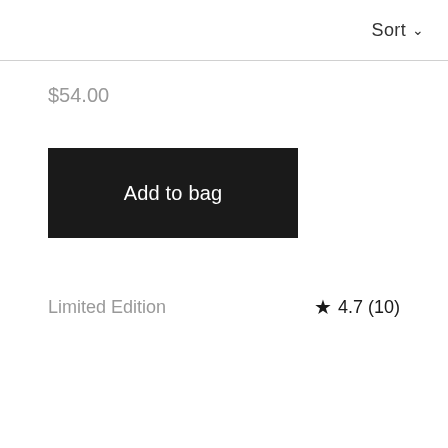Sort ∨
$54.00
Add to bag
Limited Edition
★ 4.7 (10)